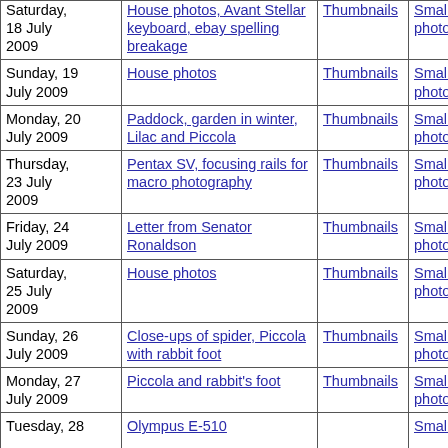| Date | Subject | Thumbnails | Small photos | diary |
| --- | --- | --- | --- | --- |
| Saturday, 18 July 2009 | House photos, Avant Stellar keyboard, ebay spelling breakage | Thumbnails | Small photos | diary |
| Sunday, 19 July 2009 | House photos | Thumbnails | Small photos | diary |
| Monday, 20 July 2009 | Paddock, garden in winter, Lilac and Piccola | Thumbnails | Small photos | diary |
| Thursday, 23 July 2009 | Pentax SV, focusing rails for macro photography | Thumbnails | Small photos | diary |
| Friday, 24 July 2009 | Letter from Senator Ronaldson | Thumbnails | Small photos | diary |
| Saturday, 25 July 2009 | House photos | Thumbnails | Small photos | diary |
| Sunday, 26 July 2009 | Close-ups of spider, Piccola with rabbit foot | Thumbnails | Small photos | diary |
| Monday, 27 July 2009 | Piccola and rabbit's foot | Thumbnails | Small photos | diary |
| Tuesday, 28 ... | Olympus E-510 |  | Small ... |  |